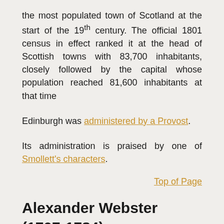the most populated town of Scotland at the start of the 19th century. The official 1801 census in effect ranked it at the head of Scottish towns with 83,700 inhabitants, closely followed by the capital whose population reached 81,600 inhabitants at that time
Edinburgh was administered by a Provost.
Its administration is praised by one of Smollett's characters.
Top of Page
Alexander Webster (1707-1784)
Son of the Scottish minister James Webster, Alexander Webster was born in Edinburgh in 1707 and did his theological studies in the capital. In 1733, he was